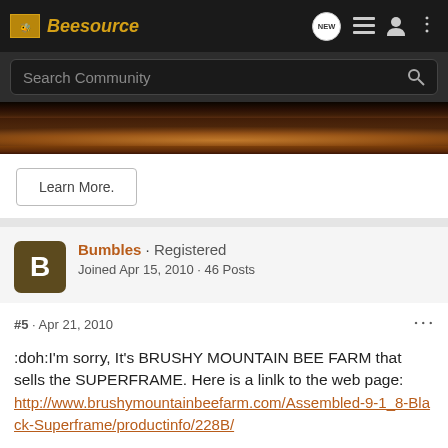Beesource
Search Community
[Figure (photo): Landscape photo of rocky desert terrain with sandy mounds, used as a banner image for the Beesource community website.]
Learn More.
Bumbles · Registered
Joined Apr 15, 2010 · 46 Posts
#5 · Apr 21, 2010
:doh:I'm sorry, It's BRUSHY MOUNTAIN BEE FARM that sells the SUPERFRAME. Here is a linlk to the web page: http://www.brushymountainbeefarm.com/Assembled-9-1_8-Black-Superframe/productinfo/228B/